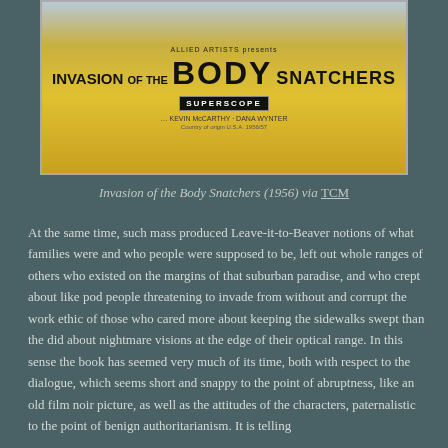[Figure (photo): Movie poster for Invasion of the Body Snatchers (1956), yellow background with bold black title text, SUPERSCOPE logo, starring Kevin McCarthy and Dana Wynter]
Invasion of the Body Snatchers (1956) via TCM
At the same time, such mass produced Leave-it-to-Beaver notions of what families were and who people were supposed to be, left out whole ranges of others who existed on the margins of that suburban paradise, and who crept about like pod people threatening to invade from without and corrupt the work ethic of those who cared more about keeping the sidewalks swept than the did about nightmare visions at the edge of their optical range. In this sense the book has seemed very much of its time, both with respect to the dialogue, which seems short and snappy to the point of abruptness, like an old film noir picture, as well as the attitudes of the characters, paternalistic to the point of benign authoritarianism. It is telling